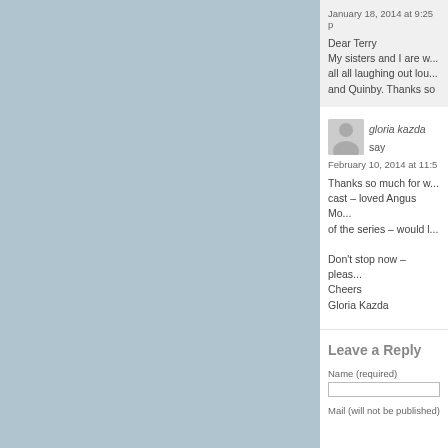January 18, 2014 at 9:25 p
Dear Terry
My sisters and I are w... all all laughing out lou... and Quinby. Thanks so
gloria kazda says
February 10, 2014 at 11:5
Thanks so much for w... cast – loved Angus Mo... of the series – would l...

Don't stop now – pleas...
Cheers
Gloria Kazda
Leave a Reply
Name (required)
Mail (will not be published)